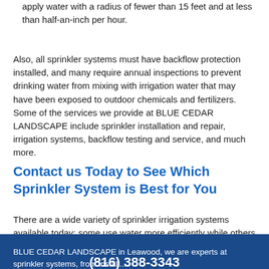apply water with a radius of fewer than 15 feet and at less than half-an-inch per hour.
Also, all sprinkler systems must have backflow protection installed, and many require annual inspections to prevent drinking water from mixing with irrigation water that may have been exposed to outdoor chemicals and fertilizers. Some of the services we provide at BLUE CEDAR LANDSCAPE include sprinkler installation and repair, irrigation systems, backflow testing and service, and much more.
Contact us Today to See Which Sprinkler System is Best for You
There are a wide variety of sprinkler irrigation systems available today; some use water more efficiently while others are best
BLUE CEDAR LANDSCAPE in Leawood, we are experts at sprinkler systems, from install...
(816) 388-3343